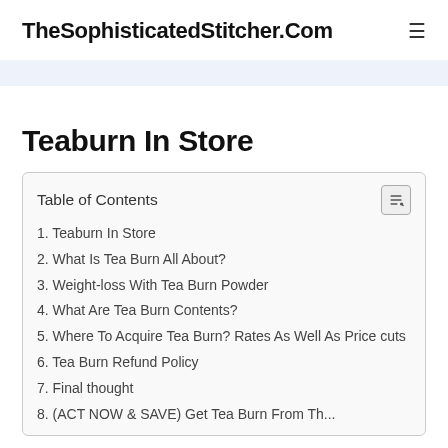TheSophisticatedStitcher.Com
Teaburn In Store
1. Teaburn In Store
2. What Is Tea Burn All About?
3. Weight-loss With Tea Burn Powder
4. What Are Tea Burn Contents?
5. Where To Acquire Tea Burn? Rates As Well As Price cuts
6. Tea Burn Refund Policy
7. Final thought
8. (ACT NOW & SAVE) Get Tea Burn From Th...